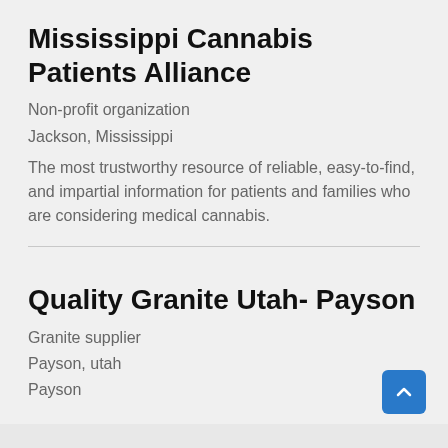Mississippi Cannabis Patients Alliance
Non-profit organization
Jackson, Mississippi
The most trustworthy resource of reliable, easy-to-find, and impartial information for patients and families who are considering medical cannabis.
Quality Granite Utah- Payson
Granite supplier
Payson, utah
Payson